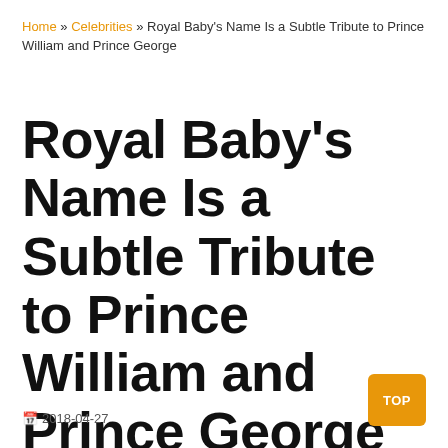Home » Celebrities » Royal Baby's Name Is a Subtle Tribute to Prince William and Prince George
Royal Baby's Name Is a Subtle Tribute to Prince William and Prince George
2018-04-27